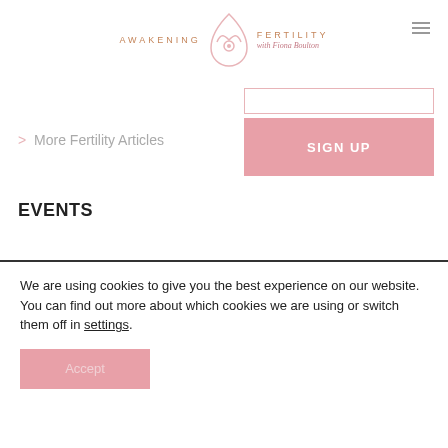[Figure (logo): Awakening Fertility logo with stylized drop/lotus icon and script text 'with Fiona Boulton']
> More Fertility Articles
SIGN UP
EVENTS
> Join our Fertility
Events
We are using cookies to give you the best experience on our website.
You can find out more about which cookies we are using or switch them off in settings.
Accept